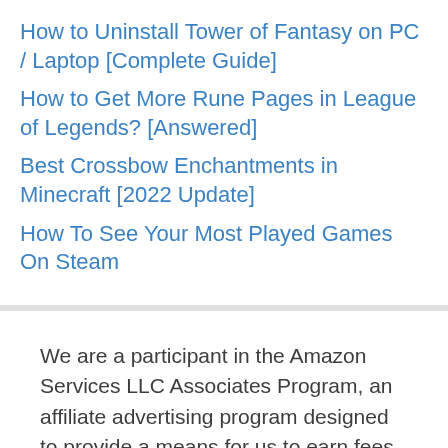How to Uninstall Tower of Fantasy on PC / Laptop [Complete Guide]
How to Get More Rune Pages in League of Legends? [Answered]
Best Crossbow Enchantments in Minecraft [2022 Update]
How To See Your Most Played Games On Steam
We are a participant in the Amazon Services LLC Associates Program, an affiliate advertising program designed to provide a means for us to earn fees by linking to Amazon.com and